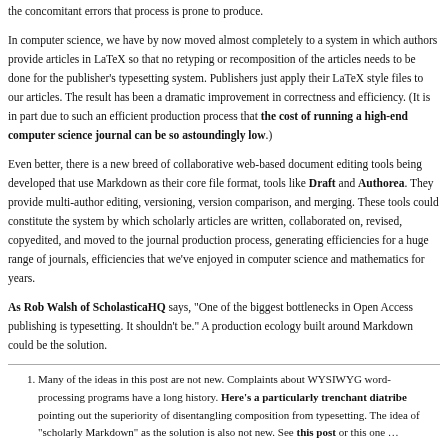the concomitant errors that process is prone to produce.
In computer science, we have by now moved almost completely to a system in which authors provide articles in LaTeX so that no retyping or recomposition of the articles needs to be done for the publisher's typesetting system. Publishers just apply their LaTeX style files to our articles. The result has been a dramatic improvement in correctness and efficiency. (It is in part due to such an efficient production process that the cost of running a high-end computer science journal can be so astoundingly low.)
Even better, there is a new breed of collaborative web-based document editing tools being developed that use Markdown as their core file format, tools like Draft and Authorea. They provide multi-author editing, versioning, version comparison, and merging. These tools could constitute the system by which scholarly articles are written, collaborated on, revised, copyedited, and moved to the journal production process, generating efficiencies for a huge range of journals, efficiencies that we've enjoyed in computer science and mathematics for years.
As Rob Walsh of ScholasticaHQ says, “One of the biggest bottlenecks in Open Access publishing is typesetting. It shouldn’t be.” A production ecology built around Markdown could be the solution.
1. Many of the ideas in this post are not new. Complaints about WYSIWYG word-processing programs have a long history. Here’s a particularly trenchant diatribe pointing out the superiority of disentangling composition from typesetting. The idea of “scholarly Markdown” as the solution is also not new. See this post or this one …